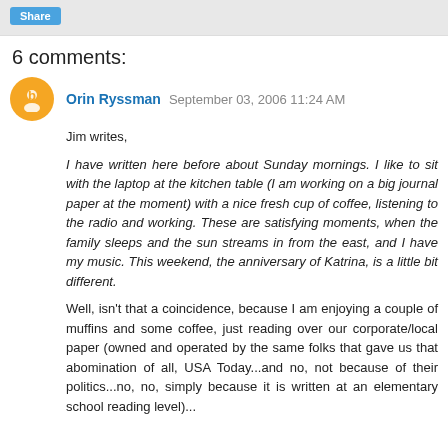[Figure (other): Share button (blue rounded rectangle with white text 'Share')]
6 comments:
Orin Ryssman  September 03, 2006 11:24 AM
Jim writes,
I have written here before about Sunday mornings. I like to sit with the laptop at the kitchen table (I am working on a big journal paper at the moment) with a nice fresh cup of coffee, listening to the radio and working. These are satisfying moments, when the family sleeps and the sun streams in from the east, and I have my music. This weekend, the anniversary of Katrina, is a little bit different.
Well, isn't that a coincidence, because I am enjoying a couple of muffins and some coffee, just reading over our corporate/local paper (owned and operated by the same folks that gave us that abomination of all, USA Today...and no, not because of their politics...no, no, simply because it is written at an elementary school reading level)...